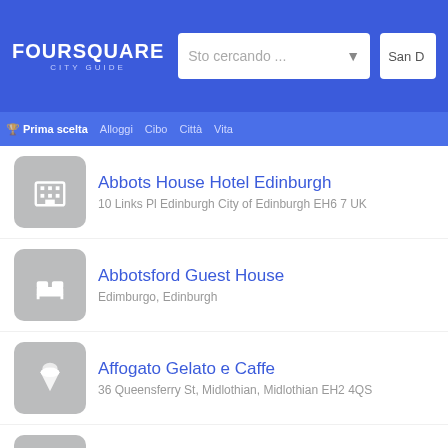Foursquare City Guide — Sto cercando ... — San D
Abbots House Hotel Edinburgh — 10 Links Pl Edinburgh City of Edinburgh EH6 7 UK
Abbotsford Guest House — Edimburgo, Edinburgh
Affogato Gelato e Caffe — 36 Queensferry St, Midlothian, Midlothian EH2 4QS
Afterz — Leven St, Edinburgh, Midlothian, Midlothian, Midlo
Agua Restaurant — 61 Grassmarket, Edimburgo, Edinburgh EH1 2JF
Ainslie Park Leisure Centre — 92 Pilton Drive, Edimburgo, Edinburgh EH5 2HF